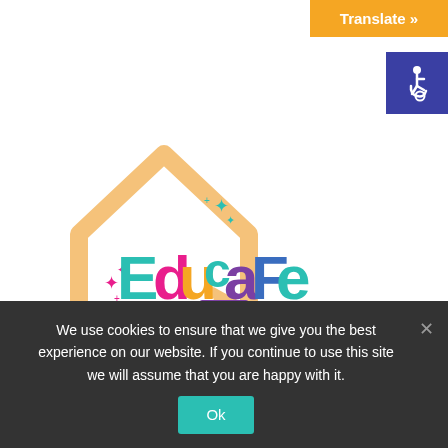[Figure (logo): Educafe logo: colorful text 'Educafe' inside a house/graduation cap shape with a hand holding a fork, sparkle stars in pink and teal]
[Figure (other): Hamburger menu icon — three horizontal purple/maroon lines]
long-term improvements such as solar panels.
We use cookies to ensure that we give you the best experience on our website. If you continue to use this site we will assume that you are happy with it.
Ok
[Figure (other): Translate button (orange background, white bold text 'Translate »')]
[Figure (other): Accessibility icon button (blue background, white wheelchair symbol)]